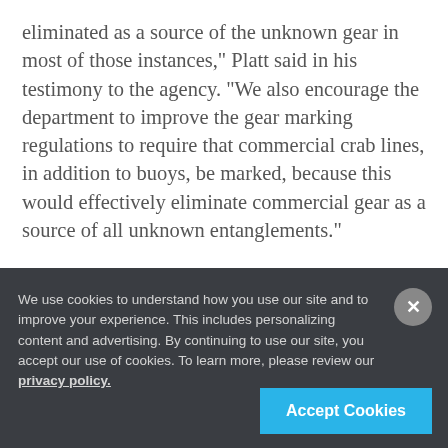eliminated as a source of the unknown gear in most of those instances," Platt said in his testimony to the agency. "We also encourage the department to improve the gear marking regulations to require that commercial crab lines, in addition to buoys, be marked, because this would effectively eliminate commercial gear as a source of all unknown entanglements."
We use cookies to understand how you use our site and to improve your experience. This includes personalizing content and advertising. By continuing to use our site, you accept our use of cookies. To learn more, please review our privacy policy.